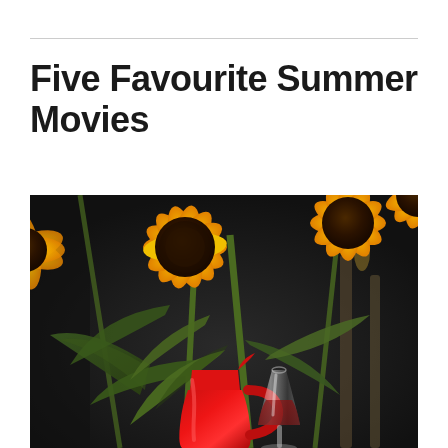Five Favourite Summer Movies
[Figure (photo): Sunflowers in a red pitcher/jug vase with a glass of red drink in the foreground, dark blurred background]